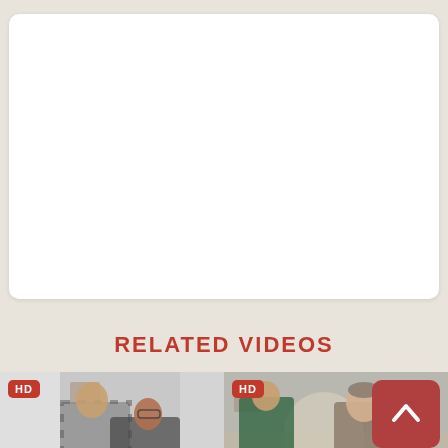[Figure (screenshot): White rounded rectangle video player area, blank/empty white content]
RELATED VIDEOS
[Figure (screenshot): Two video thumbnails side by side, each with an HD badge in top-left. Left thumbnail shows two people in close contact indoors. Right thumbnail shows two people in a room. A red scroll-up button with an upward arrow chevron overlays the right side.]